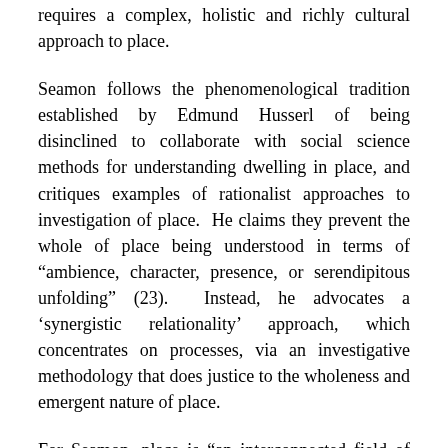requires a complex, holistic and richly cultural approach to place.
Seamon follows the phenomenological tradition established by Edmund Husserl of being disinclined to collaborate with social science methods for understanding dwelling in place, and critiques examples of rationalist approaches to investigation of place.  He claims they prevent the whole of place being understood in terms of “ambience, character, presence, or serendipitous unfolding” (23).  Instead, he advocates a ‘synergistic relationality’ approach, which concentrates on processes, via an investigative methodology that does justice to the wholeness and emergent nature of place.
For Seamon, place is “an interconnected field of intertwined relationships gathering and gathered by a lived intimacy between people and the world and